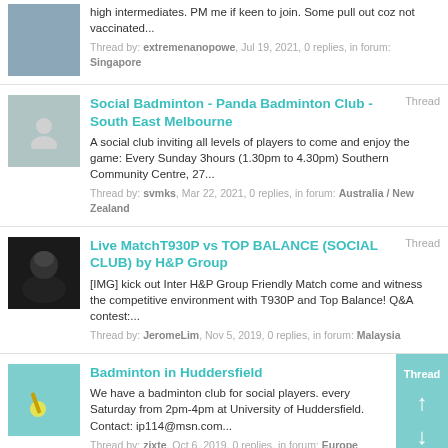high intermediates. PM me if keen to join. Some pull out coz not vaccinated...
Thread by: extremenanopowe, Jul 19, 2021, 0 replies, in forum: Singapore
Social Badminton - Panda Badminton Club - South East Melbourne
A social club inviting all levels of players to come and enjoy the game: Every Sunday 3hours (1.30pm to 4.30pm) Southern Community Centre, 27...
Thread by: svmks, Mar 22, 2021, 0 replies, in forum: Australia / New Zealand
Live MatchT930P vs TOP BALANCE (SOCIAL CLUB) by H&P Group
[IMG] kick out Inter H&P Group Friendly Match come and witness the competitive environment with T930P and Top Balance! Q&A contest:...
Thread by: JeromeLim, Nov 5, 2019, 0 replies, in forum: Malaysia
Badminton in Huddersfield
We have a badminton club for social players. every Saturday from 2pm-4pm at University of Huddersfield. Contact: ip114@msn.com...
Thread by: zjxte, Oct 6, 2019, 0 replies, in forum: Europe
Badminton at West SG